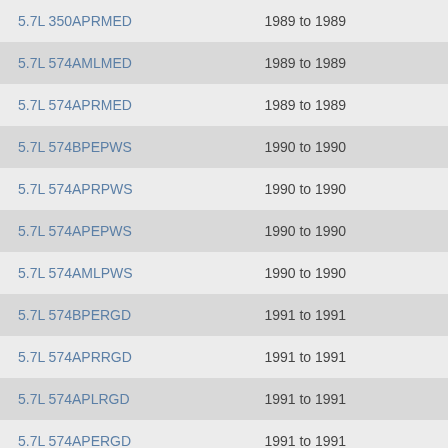| 5.7L 350APRMED | 1989 to 1989 |
| 5.7L 574AMLMED | 1989 to 1989 |
| 5.7L 574APRMED | 1989 to 1989 |
| 5.7L 574BPEPWS | 1990 to 1990 |
| 5.7L 574APRPWS | 1990 to 1990 |
| 5.7L 574APEPWS | 1990 to 1990 |
| 5.7L 574AMLPWS | 1990 to 1990 |
| 5.7L 574BPERGD | 1991 to 1991 |
| 5.7L 574APRRGD | 1991 to 1991 |
| 5.7L 574APLRGD | 1991 to 1991 |
| 5.7L 574APERGD | 1991 to 1991 |
| 5.7L 574APRAMH | 1992 to 1992 |